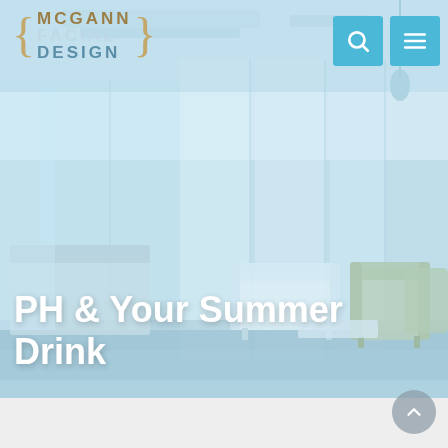[Figure (photo): Interior of a modern medical/dental office lobby with light blue tones, white furniture, green accent chairs, large windows with white panel blinds, high ceilings with exposed ductwork, and a reception desk visible on the left.]
MCGANN FACIAL DESIGN
PH & Your Summer Drink